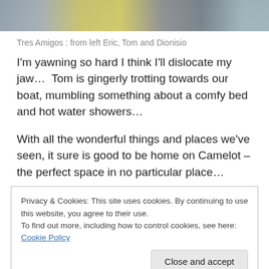[Figure (photo): Top portion of a photo showing yellow boat/machinery and rocky/stone background, partially cropped]
Tres Amigos : from left Eric, Tom and Dionisio
I'm yawning so hard I think I'll dislocate my jaw…  Tom is gingerly trotting towards our boat, mumbling something about a comfy bed and hot water showers…
With all the wonderful things and places we've seen, it sure is good to be home on Camelot – the perfect space in no particular place…
Privacy & Cookies: This site uses cookies. By continuing to use this website, you agree to their use.
To find out more, including how to control cookies, see here: Cookie Policy
[Figure (photo): Bottom portion of a photo showing light-colored cushioned seating/interior, partially cropped]